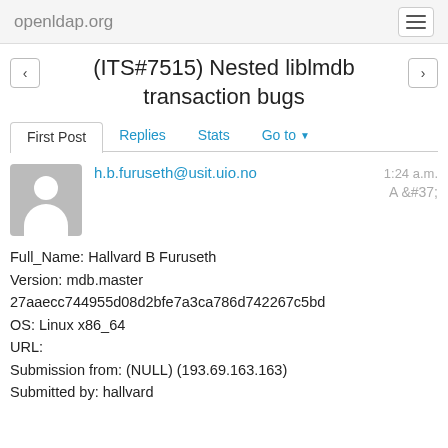openldap.org
(ITS#7515) Nested liblmdb transaction bugs
First Post  Replies  Stats  Go to
h.b.furuseth@usit.uio.no  1:24 a.m.
Full_Name: Hallvard B Furuseth
Version: mdb.master 27aaecc744955d08d2bfe7a3ca786d742267c5bd
OS: Linux x86_64
URL:
Submission from: (NULL) (193.69.163.163)
Submitted by: hallvard